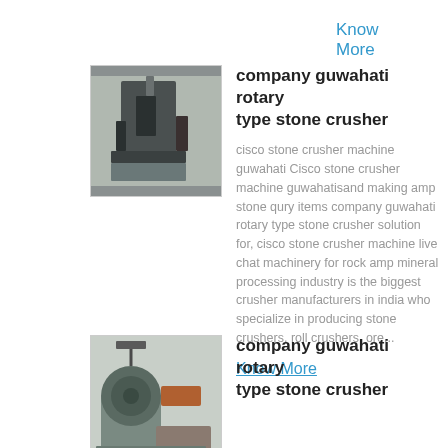Know More
[Figure (photo): Industrial stone crusher machine in a workshop setting]
company guwahati rotary type stone crusher
cisco stone crusher machine guwahati Cisco stone crusher machine guwahatisand making amp stone qury items company guwahati rotary type stone crusher solution for, cisco stone crusher machine live chat machinery for rock amp mineral processing industry is the biggest crusher manufacturers in india who specialize in producing stone crushers, roll crushers, ore...
Know More
[Figure (photo): Large rotary stone crusher machine outdoors]
company guwahati rotary type stone crusher